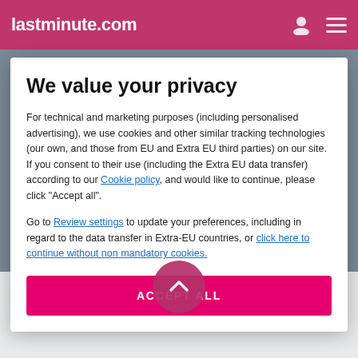lastminute.com
We value your privacy
For technical and marketing purposes (including personalised advertising), we use cookies and other similar tracking technologies (our own, and those from EU and Extra EU third parties) on our site. If you consent to their use (including the Extra EU data transfer) according to our Cookie policy, and would like to continue, please click "Accept all".
Go to Review settings to update your preferences, including in regard to the data transfer in Extra-EU countries, or click here to continue without non mandatory cookies.
ACCEPT ALL
Information about Briz - Seabreeze Hotel